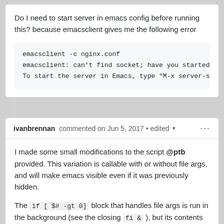Do I need to start server in emacs config before running this? because emacsclient gives me the following error
emacsclient -c nginx.conf
emacsclient: can't find socket; have you started th
To start the server in Emacs, type "M-x server-star
ivanbrennan commented on Jun 5, 2017 • edited ▾ ···
I made some small modifications to the script @ptb provided. This variation is callable with or without file args, and will make emacs visible even if it was previously hidden.
The if [ $# -gt 0] block that handles file args is run in the background (see the closing fi & ), but its contents run synchronously with respect to each other. That prevents deleting the tempfiles before they've been visited, with no need for sleep.